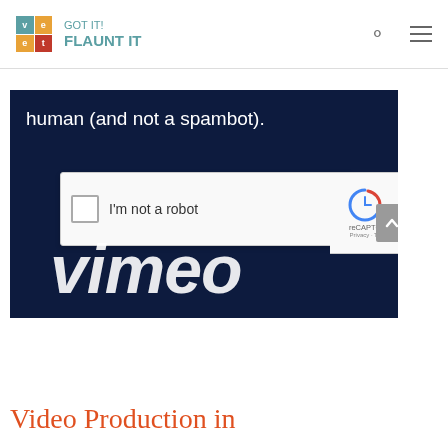veetoo GOT IT! FLAUNT IT
[Figure (screenshot): Screenshot of a Vimeo page showing a reCAPTCHA dialog with 'I'm not a robot' checkbox and the Vimeo logo in the background. Text reads 'human (and not a spambot).']
Video Production in